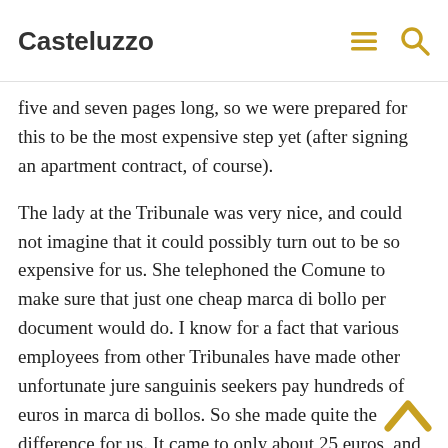amended due to numerous errors. It ended up being a total of nine pages. We have thirteen documents, and most are between
Casteluzzo
five and seven pages long, so we were prepared for this to be the most expensive step yet (after signing an apartment contract, of course).
The lady at the Tribunale was very nice, and could not imagine that it could possibly turn out to be so expensive for us. She telephoned the Comune to make sure that just one cheap marca di bollo per document would do. I know for a fact that various employees from other Tribunales have made other unfortunate jure sanguinis seekers pay hundreds of euros in marca di bollos. So she made quite the difference for us. It came to only about 25 euros, and she did it right away.